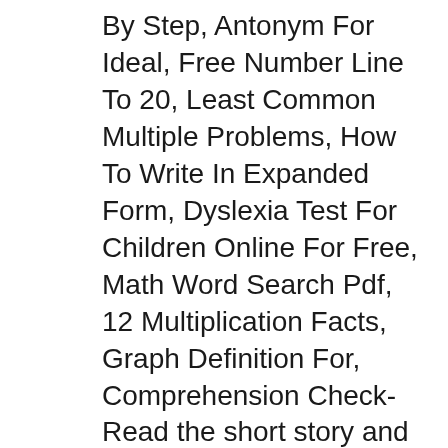By Step, Antonym For Ideal, Free Number Line To 20, Least Common Multiple Problems, How To Write In Expanded Form, Dyslexia Test For Children Online For Free, Math Word Search Pdf, 12 Multiplication Facts, Graph Definition For, Comprehension Check- Read the short story and answer the questions. . Annie Moffatt. 2.4k. Similar ideas . More information. Reading Comprehension Checks for September! Each monthly NO PREP Reading Comprehension Packet comes with 20 early-reader passages that build fluency, confidence, and comprehension! Reading Comprehension Passages Reading Groups Reading Intervention вЂ¦.